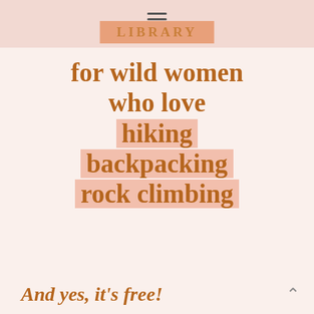LIBRARY
for wild women who love hiking backpacking rock climbing
And yes, it's free!